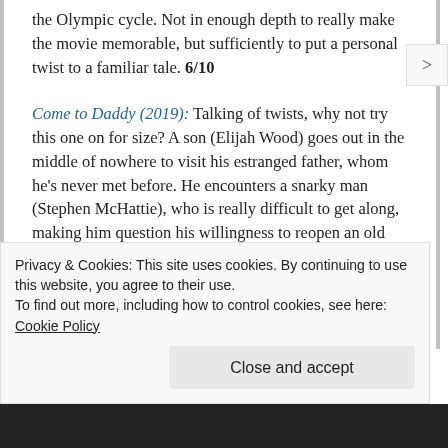the Olympic cycle. Not in enough depth to really make the movie memorable, but sufficiently to put a personal twist to a familiar tale. 6/10
Come to Daddy (2019): Talking of twists, why not try this one on for size? A son (Elijah Wood) goes out in the middle of nowhere to visit his estranged father, whom he's never met before. He encounters a snarky man (Stephen McHattie), who is really difficult to get along, making him question his willingness to reopen an old wound. And then thing go from nuts to whipped cream with crazy brownies. It's mostly entertaining, even if it fails to be as clever as it wants itself to seem. The resolution, inevitably, feels like a
Privacy & Cookies: This site uses cookies. By continuing to use this website, you agree to their use.
To find out more, including how to control cookies, see here: Cookie Policy